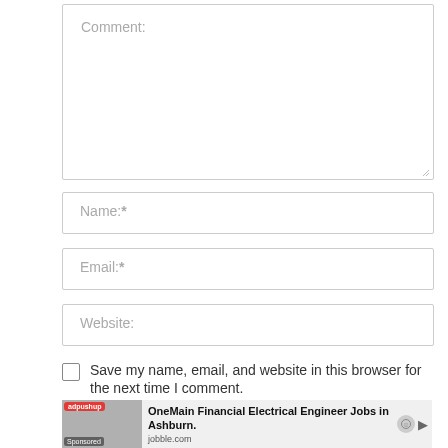Comment:
Name:*
Email:*
Website:
Save my name, email, and website in this browser for the next time I comment.
[Figure (screenshot): Advertisement banner from adpushup for OneMain Financial Electrical Engineer Jobs in Ashburn on jobble.com]